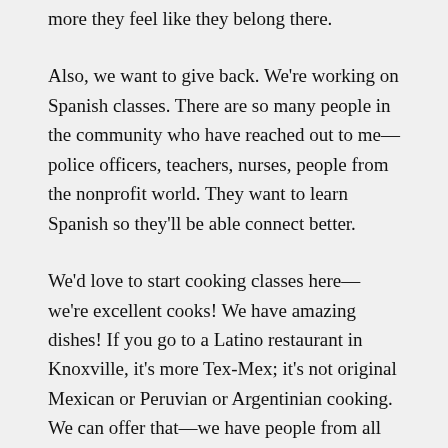more they feel like they belong there.
Also, we want to give back. We're working on Spanish classes. There are so many people in the community who have reached out to me—police officers, teachers, nurses, people from the nonprofit world. They want to learn Spanish so they'll be able connect better.
We'd love to start cooking classes here—we're excellent cooks! We have amazing dishes! If you go to a Latino restaurant in Knoxville, it's more Tex-Mex; it's not original Mexican or Peruvian or Argentinian cooking. We can offer that—we have people from all over Latin America. It's a way the people who are learning English can give back, and they really want to do that.
Anything else you'd like to add?